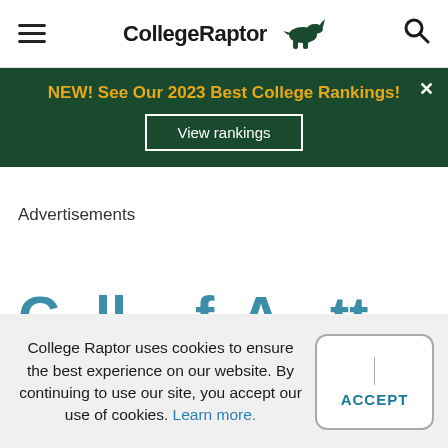CollegeRaptor
NEW! See Our 2023 Best College Rankings! View rankings
Advertisements
College Raptor uses cookies to ensure the best experience on our website. By continuing to use our site, you accept our use of cookies. Learn more.
I ACCEPT